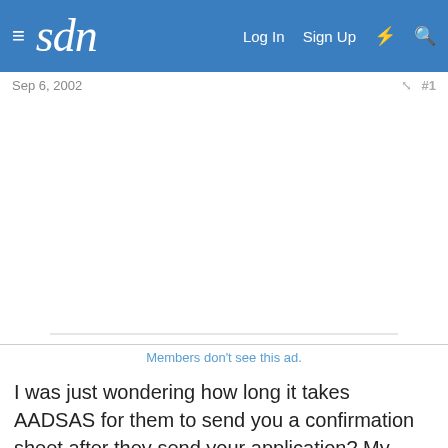sdn | Log In  Sign Up
Sep 6, 2002   #1
[Figure (other): Advertisement placeholder area (blank white space)]
Members don't see this ad.
I was just wondering how long it takes AADSAS for them to send you a confirmation sheet after they send your application? My application was sent out early last week, so it's been about 2